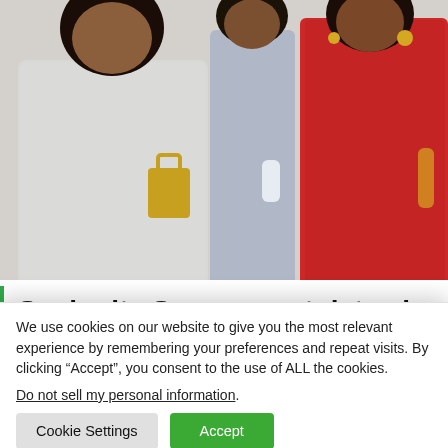[Figure (photo): Three people posed together. On the left is a woman in a speckled grey/white outfit holding a yellow bag. In the center is a man in a light blue long-sleeve shirt. On the right is a woman in a red dress with accessories.]
Sushmita Sen congratulates her brother Rajeev Sen and Charu Asopa for calling off their
We use cookies on our website to give you the most relevant experience by remembering your preferences and repeat visits. By clicking “Accept”, you consent to the use of ALL the cookies.
Do not sell my personal information.